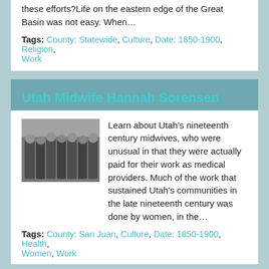these efforts?Life on the eastern edge of the Great Basin was not easy.  When…
Tags: County: Statewide, Culture, Date: 1850-1900, Religion, Work
Utah Midwife Hannah Sorensen
[Figure (photo): Black and white historical group photo]
Learn about Utah's nineteenth century midwives, who were unusual in that they were actually paid for their work as medical providers. Much of the work that sustained Utah's communities in the late nineteenth century was done by women, in the…
Tags: County: San Juan, Culture, Date: 1850-1900, Health, Women, Work
Pablo O'Higgins: Mexican Muralist
[Figure (photo): Black and white photo related to Mexican mural art]
The Mexican Mural Renaissance is one of the most